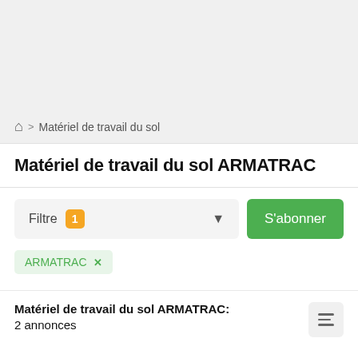🏠 > Matériel de travail du sol
Matériel de travail du sol ARMATRAC
Filtre 1 ▼ S'abonner
ARMATRAC ×
Matériel de travail du sol ARMATRAC:
2 annonces